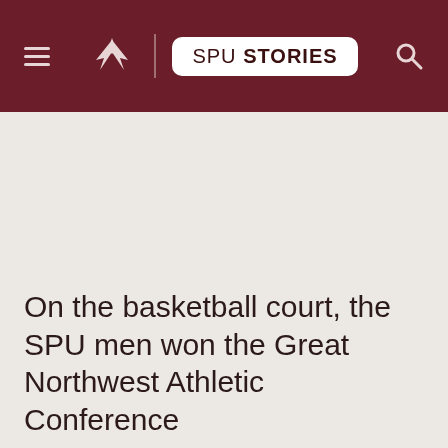SPU STORIES
[Figure (other): Large empty image area with light beige background, placeholder for a photo]
On the basketball court, the SPU men won the Great Northwest Athletic Conference